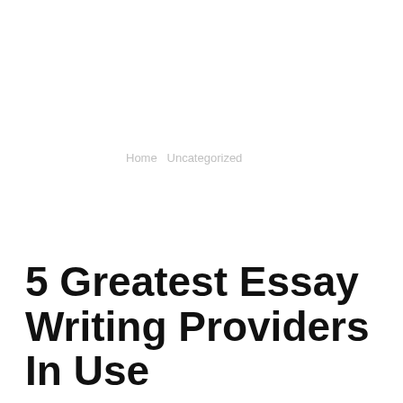Home   Uncategorized
5 Greatest Essay Writing Providers In Use